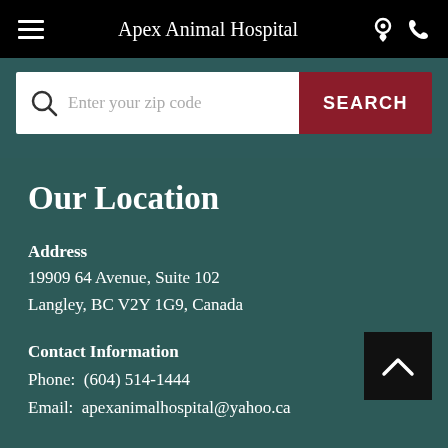Apex Animal Hospital
[Figure (screenshot): Search bar with magnifying glass icon, text field 'Enter your zip code', and red SEARCH button]
Our Location
Address
19909 64 Avenue, Suite 102
Langley, BC V2Y 1G9, Canada
Contact Information
Phone:  (604) 514-1444
Email:  apexanimalhospital@yahoo.ca